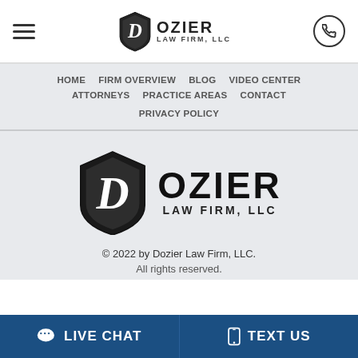Dozier Law Firm, LLC - Header navigation with hamburger menu, logo, and phone button
HOME  |  FIRM OVERVIEW  |  BLOG  |  VIDEO CENTER
ATTORNEYS  |  PRACTICE AREAS  |  CONTACT
PRIVACY POLICY
[Figure (logo): Dozier Law Firm, LLC shield logo with stylized D and firm name]
© 2022 by Dozier Law Firm, LLC.
All rights reserved.
LIVE CHAT  |  TEXT US